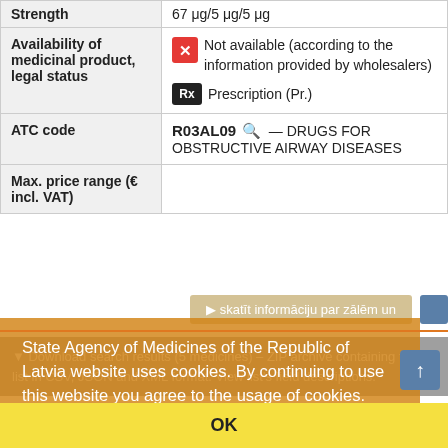| Field | Value |
| --- | --- |
| Strength | 67 μg/5 μg/5 μg |
| Availability of medicinal product, legal status | ❌ Not available (according to the information provided by wholesalers)
Rx Prescription (Pr.) |
| ATC code | R03AL09 🔍 — DRUGS FOR OBSTRUCTIVE AIRWAY DISEASES |
| Max. price range (€ incl. VAT) |  |
skatīt informāciju par zālēm un
State Agency of Medicines of the Republic of Latvia website uses cookies. By continuing to use this website you agree to the usage of cookies. Read more (in Latvian)
Download search results (5 medicines) – ZIP archive containing the list in CSV, JSON and XML format. View list's field descriptions.
OK